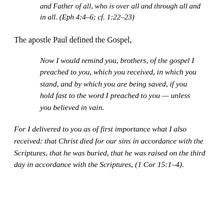and Father of all, who is over all and through all and in all. (Eph 4:4–6; cf. 1:22–23)
The apostle Paul defined the Gospel,
Now I would remind you, brothers, of the gospel I preached to you, which you received, in which you stand, and by which you are being saved, if you hold fast to the word I preached to you — unless you believed in vain.
For I delivered to you as of first importance what I also received: that Christ died for our sins in accordance with the Scriptures, that he was buried, that he was raised on the third day in accordance with the Scriptures, (1 Cor 15:1–4).